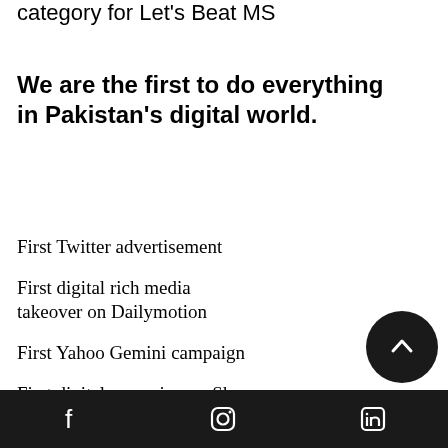category for Let's Beat MS
We are the first to do everything in Pakistan's digital world.
First Twitter advertisement
First digital rich media takeover on Dailymotion
First Yahoo Gemini campaign
First digital campaign on Skype
First Merged Media campaign
Facebook | Instagram | LinkedIn